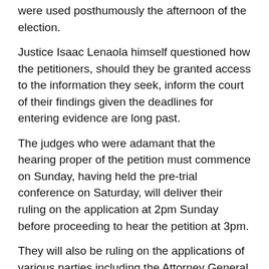were used posthumously the afternoon of the election.
Justice Isaac Lenaola himself questioned how the petitioners, should they be granted access to the information they seek, inform the court of their findings given the deadlines for entering evidence are long past.
The judges who were adamant that the hearing proper of the petition must commence on Sunday, having held the pre-trial conference on Saturday, will deliver their ruling on the application at 2pm Sunday before proceeding to hear the petition at 3pm.
They will also be ruling on the applications of various parties including the Attorney General and Law Society of Kenya, to be enjoined as friends of the court. ■
Source: Capital FM Kenya